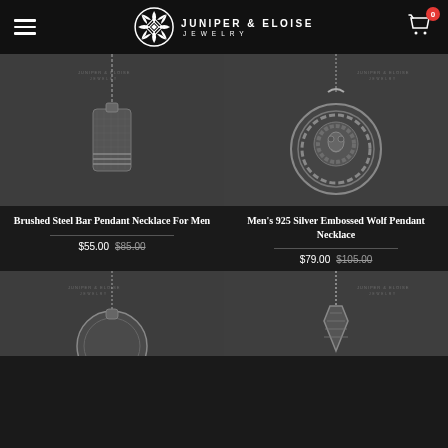Juniper & Eloise Jewelry
[Figure (photo): Brushed steel bar pendant necklace on dark grey textured background with watermark logo]
[Figure (photo): Men's 925 silver embossed wolf/lion pendant necklace on dark grey textured background with watermark logo]
Brushed Steel Bar Pendant Necklace For Men
$55.00  $85.00
Men's 925 Silver Embossed Wolf Pendant Necklace
$79.00  $105.00
[Figure (photo): Silver pendant necklace on dark grey textured background with watermark logo (bottom left product)]
[Figure (photo): Silver pendant necklace on dark grey textured background with watermark logo (bottom right product)]